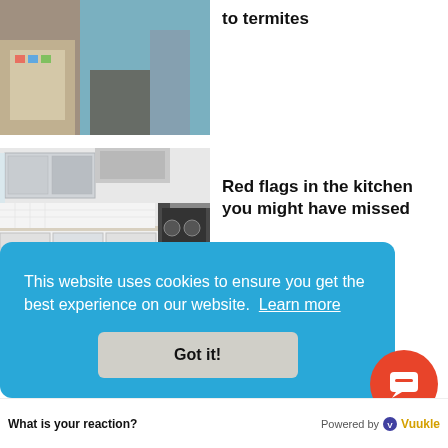[Figure (photo): Partially visible photo of a room interior with books, shelves, and a teal curtain]
to termites
[Figure (photo): Photo of a white kitchen with cabinets, countertops, a stove and range hood]
Red flags in the kitchen you might have missed
[Figure (photo): Partially visible photo, bottom of page]
This website uses cookies to ensure you get the best experience on our website. Learn more
Got it!
What is your reaction? Powered by Vuukle